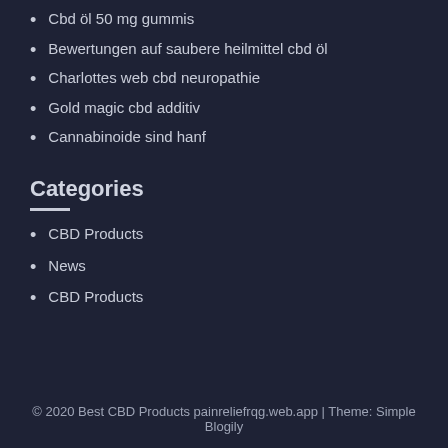Cbd öl 50 mg gummis
Bewertungen auf saubere heilmittel cbd öl
Charlottes web cbd neuropathie
Gold magic cbd additiv
Cannabinoide sind hanf
Categories
CBD Products
News
CBD Products
© 2020 Best CBD Products painreliefrqg.web.app | Theme: Simple Blogily